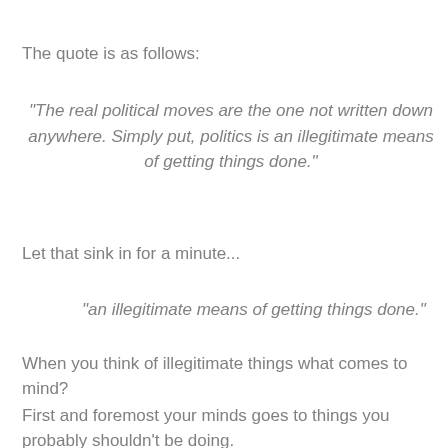The quote is as follows:
"The real political moves are the one not written down anywhere. Simply put, politics is an illegitimate means of getting things done."
Let that sink in for a minute...
"an illegitimate means of getting things done."
When you think of illegitimate things what comes to mind?
First and foremost your minds goes to things you probably shouldn't be doing.
Things that are probably just on the fringe of legal and illegal.